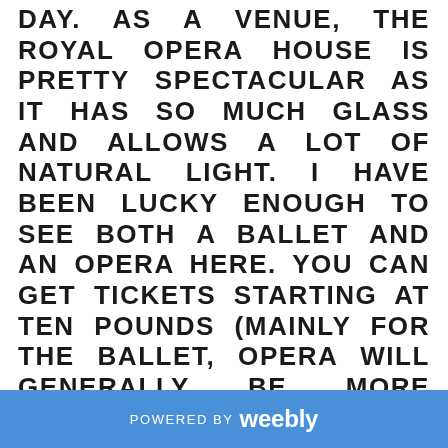DAY. AS A VENUE, THE ROYAL OPERA HOUSE IS PRETTY SPECTACULAR AS IT HAS SO MUCH GLASS AND ALLOWS A LOT OF NATURAL LIGHT. I HAVE BEEN LUCKY ENOUGH TO SEE BOTH A BALLET AND AN OPERA HERE. YOU CAN GET TICKETS STARTING AT TEN POUNDS (MAINLY FOR THE BALLET, OPERA WILL GENERALLY BE MORE EXPENSIVE). IT IS A LOVELY EXPERIENCE AND I WOULD RECOMMEND SEEING A SHOW OR EVEN JUST TO ESCAPE THE HUSTLE OF COVENT GARDEN AND ENJOY A TEA OR SOMETHING STRONGER. I CAME BACK DURING THE DAY FOR A COFFEE. IT WAS A
POWERED BY weebly